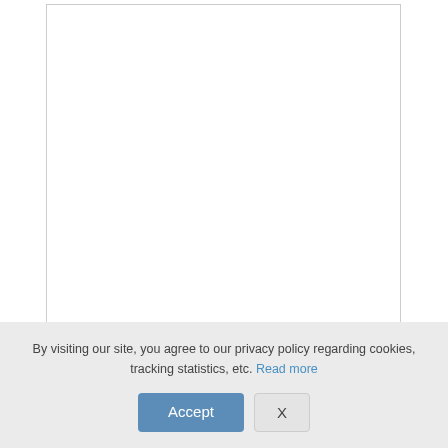[Figure (screenshot): A large empty textarea input box with a resize handle in the bottom-right corner]
Name (required)
[Figure (screenshot): A single-line text input field for Name]
Email (will not be published) (required)
[Figure (screenshot): A single-line text input field for Email]
Website
By visiting our site, you agree to our privacy policy regarding cookies, tracking statistics, etc. Read more
[Figure (screenshot): Accept button (blue) and X button (gray) in cookie consent banner]